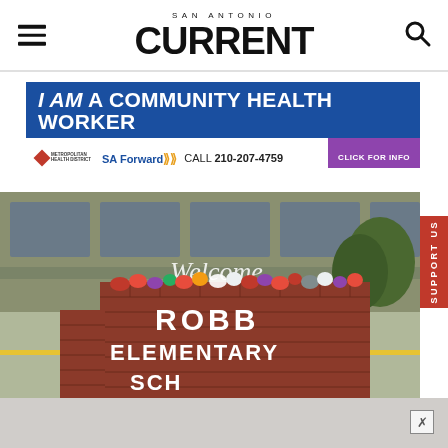SAN ANTONIO CURRENT
[Figure (infographic): Advertisement banner: I AM a COMMUNITY HEALTH WORKER - Click for Info - SA Forward - CALL 210-207-4759]
[Figure (photo): Robb Elementary School sign with flowers laid on top as memorial, brick sign reads ROBB ELEMENTARY SCHOOL with Welcome sign visible in background]
[Figure (other): Support Us red vertical tab on right side]